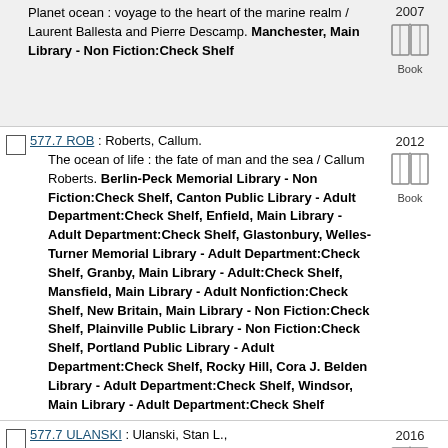Planet ocean : voyage to the heart of the marine realm / Laurent Ballesta and Pierre Descamp. Manchester, Main Library - Non Fiction:Check Shelf
577.7 ROB : Roberts, Callum. The ocean of life : the fate of man and the sea / Callum Roberts. Berlin-Peck Memorial Library - Non Fiction:Check Shelf, Canton Public Library - Adult Department:Check Shelf, Enfield, Main Library - Adult Department:Check Shelf, Glastonbury, Welles-Turner Memorial Library - Adult Department:Check Shelf, Granby, Main Library - Adult:Check Shelf, Mansfield, Main Library - Adult Nonfiction:Check Shelf, New Britain, Main Library - Non Fiction:Check Shelf, Plainville Public Library - Non Fiction:Check Shelf, Portland Public Library - Adult Department:Check Shelf, Rocky Hill, Cora J. Belden Library - Adult Department:Check Shelf, Windsor, Main Library - Adult Department:Check Shelf. 2012
577.7 ULANSKI : Ulanski, Stan L. The California Current : a Pacific ecosystem and its fliers, divers, and swimmers / Stan Ulanski. Newington, Lucy Robbins Welles Library - Adult Department:Check Shelf. 2016
577.7 W426M : Weis, Judith S. Marine pollution : what everyone needs to. 2015